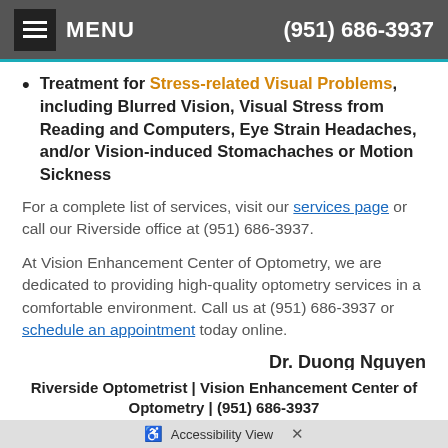MENU | (951) 686-3937
Treatment for Stress-related Visual Problems, including Blurred Vision, Visual Stress from Reading and Computers, Eye Strain Headaches, and/or Vision-induced Stomachaches or Motion Sickness
For a complete list of services, visit our services page or call our Riverside office at (951) 686-3937.
At Vision Enhancement Center of Optometry, we are dedicated to providing high-quality optometry services in a comfortable environment. Call us at (951) 686-3937 or schedule an appointment today online.
Dr. Duong Nguyen
Riverside Optometrist | Vision Enhancement Center of Optometry | (951) 686-3937